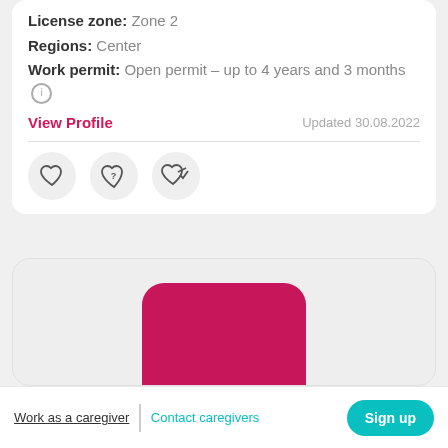License zone: Zone 2
Regions: Center
Work permit: Open permit - up to 4 years and 3 months (i)
View Profile
Updated 30.08.2022
[Figure (illustration): Three circular icon buttons: heart (favorite), heart with question mark (unknown), heart with checkmark (confirmed)]
[Figure (photo): Profile card with a pink/magenta rounded square placeholder image for a caregiver profile]
Work as a caregiver | Contact caregivers Sign up